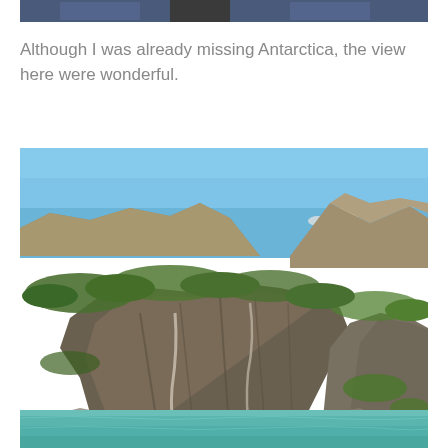[Figure (photo): Top portion of a photo showing people in blue jackets, cropped at the top of the page]
Although I was already missing Antarctica, the view here were wonderful.
[Figure (photo): Landscape photograph showing rocky mountain cliffs with green vegetation, snow-capped peaks in the background under a clear blue sky, and turquoise glacial water in the foreground]